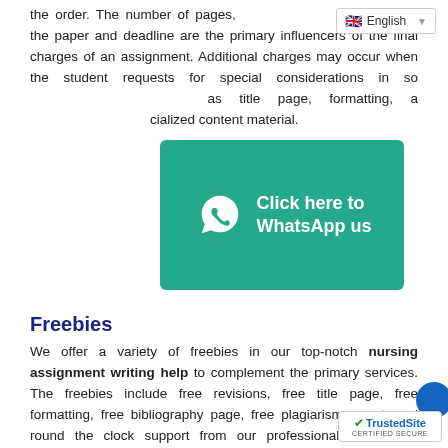the order. The number of pages, format of the paper and deadline are the primary influencers of the final charges of an assignment. Additional charges may occur when the student requests for special considerations in so... as title page, formatting, a... cialized content material.
[Figure (screenshot): WhatsApp 'Click here to WhatsApp us' green banner/button with WhatsApp phone icon]
Freebies
We offer a variety of freebies in our top-notch nursing assignment writing help to complement the primary services. The freebies include free revisions, free title page, free formatting, free bibliography page, free plagiarism report, and round the clock support from our professional on-the call response team.
Conclusion
Our nursing assignment writing service is the best in the industry, and that can be backed by the quality of services we offer as well as the prices we charge... freebies we offer to nurse students. We are i...